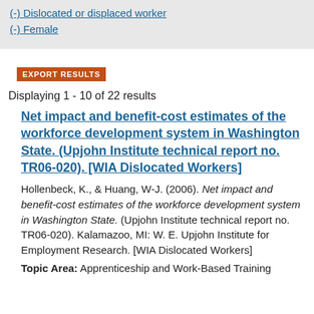(-) Dislocated or displaced worker
(-) Female
EXPORT RESULTS
Displaying 1 - 10 of 22 results
Net impact and benefit-cost estimates of the workforce development system in Washington State. (Upjohn Institute technical report no. TR06-020). [WIA Dislocated Workers]
Hollenbeck, K., & Huang, W-J. (2006). Net impact and benefit-cost estimates of the workforce development system in Washington State. (Upjohn Institute technical report no. TR06-020). Kalamazoo, MI: W. E. Upjohn Institute for Employment Research. [WIA Dislocated Workers]
Topic Area: Apprenticeship and Work-Based Training